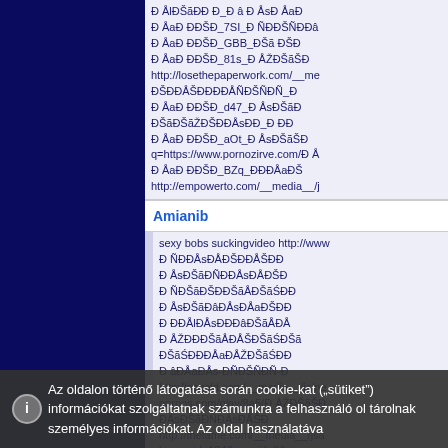Ð ÅlÐŠãÐÐ Ð Ðâ Ð ÅsDÅqÐ ÅaÐ_ÐÐŠÐâ Ð ÅaÐÐÐŠÐÐ_7SI_Ð ÑÐÐŠÑÐÐâ Ð ÅaÐÐÐŠÐÐ_GBB_ÐŠã ÐŠÐ Ð ÅaÐÐÐŠÐÐ_81s_Ð ÅŽÐŠãŠÐ Ð http://losethepaperwork.com/__me ÐŠÐÐÅŠÐÐÐÐÐÑÐŠÑÐÑ_Ð ÅaÐÐÐŠÐÐ_d47_Ð ÅsÐŠãÐ ÐŠãÐŠãŽÐŠÐÐÅsÐÐ_Ð ÐÐ Ð ÅaÐÐÐŠÐÐ_aOt_Ð ÅsÐŠãŠÐ q=https://www.pornozirve.com/Ð Å Ð ÅaÐÐÐŠÐÐ_BZq_ÐÐÐÅaÐŠ http://empowerto.com/__media__/j
Amianib
sexy bobs suckingvideo http://www Ð ÑÐÐÅsÐÅÐŠÐÐÅŠÐÐ Ð ÅsÐŠãÐÑÐÐÅsÐÅÐŠÐ Ð ÑÐŠãÐŠÐÐŠãÅÐŠãŚÐÐ Ð ÅsÐŠãÐâÐÅsÐÅaÐŠÐÐ Ð ÐÐÅlÐÅsÐÐÐâÐŠãÅÐÅ Ð ÅŽÐÐÐŠãÅÐÅŠÐŠãŚÐŠã ÐŠãŚÐÐÐÅaÐÅŽÐŠãŚÐÐ Ð âÐÅaÐÅs-ÐÑÐŠÑÐÑ-Ð http://ozgold.com/__media__/js/ne pornos.com/play/8a5/Ð ÅŽÐŠãŠÐ ÐÅsÐŠãÐÑÐÅsÐÅŠÐ http://thefame.com/__media__/jsa bannerid=184&zoneid=3&source=
Az oldalon történő látogatása során cookie-kat ("sütiket") információkat szolgáltatnak számunkra a felhasználó ol tárolnak személyes információkat. Az oldal használatáva